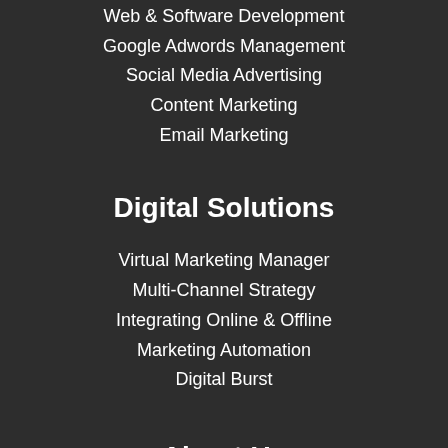Web & Software Development
Google Adwords Management
Social Media Advertising
Content Marketing
Email Marketing
Digital Solutions
Virtual Marketing Manager
Multi-Channel Strategy
Integrating Online & Offline
Marketing Automation
Digital Burst
About Us